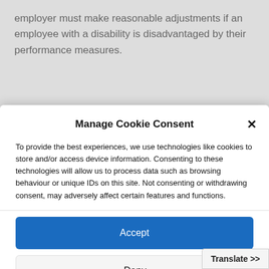employer must make reasonable adjustments if an employee with a disability is disadvantaged by their performance measures.
Manage Cookie Consent
To provide the best experiences, we use technologies like cookies to store and/or access device information. Consenting to these technologies will allow us to process data such as browsing behaviour or unique IDs on this site. Not consenting or withdrawing consent, may adversely affect certain features and functions.
Accept
Deny
View preferences
Cookie Policy  Privacy Policy
Translate >>